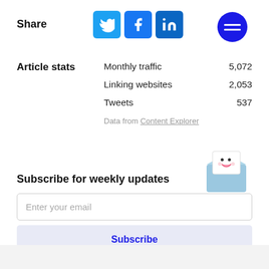Share
[Figure (infographic): Social share buttons for Twitter, Facebook, and LinkedIn, each as colored rounded squares with white icons]
[Figure (infographic): Dark blue circular hamburger menu icon with two horizontal white lines]
Article stats
| Metric | Value |
| --- | --- |
| Monthly traffic | 5,072 |
| Linking websites | 2,053 |
| Tweets | 537 |
Data from Content Explorer
Subscribe for weekly updates
[Figure (illustration): Cute cartoon envelope character with a smiling face, light blue envelope body with white letter inside]
Enter your email
Subscribe